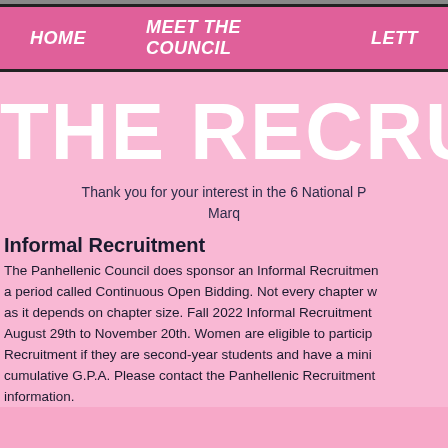HOME    MEET THE COUNCIL    LETT
THE RECRUIT
Thank you for your interest in the 6 National P... Marq...
Informal Recruitment
The Panhellenic Council does sponsor an Informal Recruitment a period called Continuous Open Bidding. Not every chapter w as it depends on chapter size. Fall 2022 Informal Recruitment August 29th to November 20th. Women are eligible to particip Recruitment if they are second-year students and have a mini cumulative G.P.A. Please contact the Panhellenic Recruitment information.